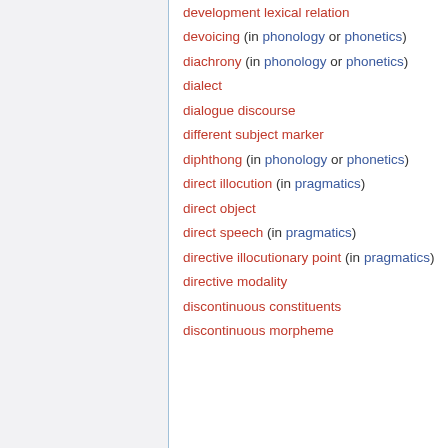development lexical relation
devoicing (in phonology or phonetics)
diachrony (in phonology or phonetics)
dialect
dialogue discourse
different subject marker
diphthong (in phonology or phonetics)
direct illocution (in pragmatics)
direct object
direct speech (in pragmatics)
directive illocutionary point (in pragmatics)
directive modality
discontinuous constituents
discontinuous morpheme